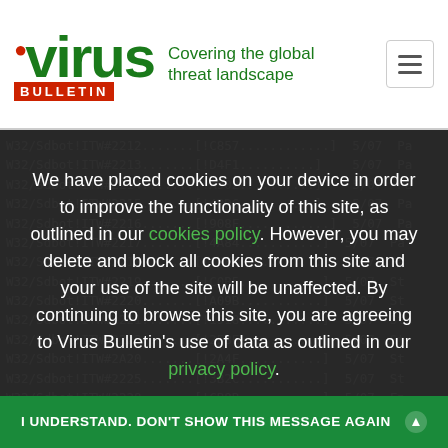[Figure (logo): Virus Bulletin logo with red dot above 'i', green bold 'virus' text, red 'BULLETIN' bar, and green tagline 'Covering the global threat landscape']
W32/Sdbot!ITW#2212.......[!C857............] 5/07  Pa
W32/Sdbot!ITW (multiple entries) [.......] 5/07  Pa/St
(additional rows listing W32/Sdbot!ITW variants with hash codes, dates, and status codes)
We have placed cookies on your device in order to improve the functionality of this site, as outlined in our cookies policy. However, you may delete and block all cookies from this site and your use of the site will be unaffected. By continuing to browse this site, you are agreeing to Virus Bulletin's use of data as outlined in our privacy policy.
I UNDERSTAND. DON'T SHOW THIS MESSAGE AGAIN